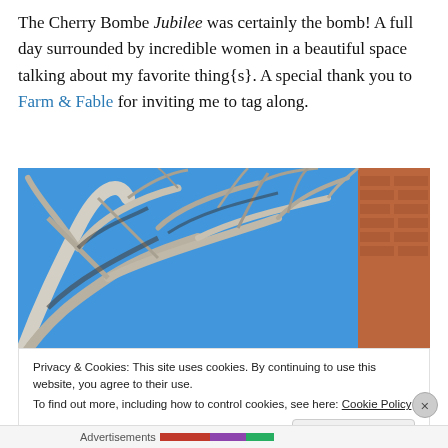The Cherry Bombe Jubilee was certainly the bomb! A full day surrounded by incredible women in a beautiful space talking about my favorite thing{s}. A special thank you to Farm & Fable for inviting me to tag along.
[Figure (photo): Upward view of bare winter tree branches against a bright blue sky, with a red brick building visible in the upper right corner.]
Privacy & Cookies: This site uses cookies. By continuing to use this website, you agree to their use.
To find out more, including how to control cookies, see here: Cookie Policy
Close and accept
Advertisements